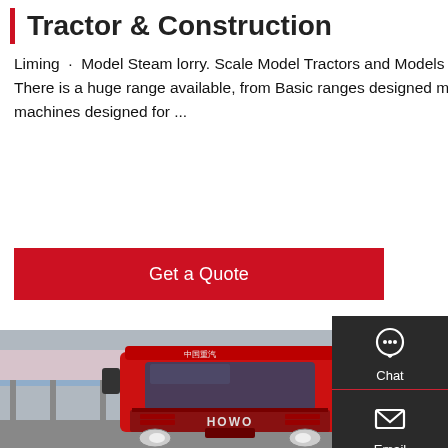Tractor & Construction
Liming · Model Steam lorry. Scale Model Tractors and Models of Construction plant and Trucks are Highly Collectable. There is a huge range available, from Basic ranges designed more for children up to very sophisticated solid brass machines designed for ...
[Figure (other): Red 'Get a Quote' button]
[Figure (photo): Red HOWO truck (tractor unit) parked in a yard with other white trucks, Chinese text on cab roof, industrial background]
[Figure (other): Dark sidebar with Chat, Email, Contact, Top icons]